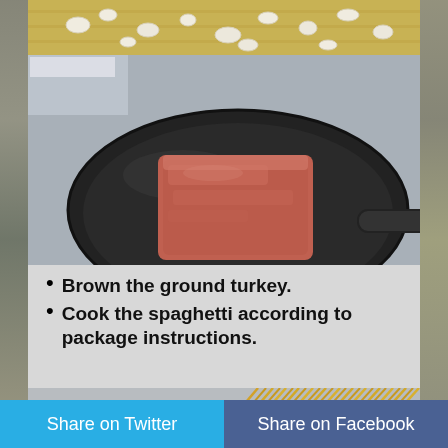[Figure (photo): Chopped garlic/onion pieces on a wooden cutting board, partial view at top of page]
[Figure (photo): Raw ground turkey/meat block in a large black non-stick frying pan on a stovetop]
Brown the ground turkey.
Cook the spaghetti according to package instructions.
[Figure (photo): Dry spaghetti noodles being placed into a large black pot of boiling water on a stove]
Share on Twitter    Share on Facebook